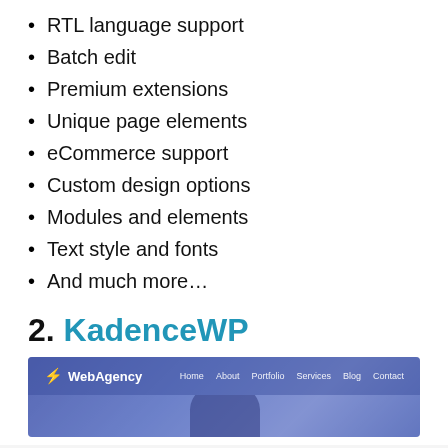RTL language support
Batch edit
Premium extensions
Unique page elements
eCommerce support
Custom design options
Modules and elements
Text style and fonts
And much more…
2. KadenceWP
[Figure (screenshot): Screenshot of KadenceWP website showing a navigation bar with WebAgency logo and menu items (Home, About, Portfolio, Services, Blog, Contact) over a blue/purple hero background with a silhouette.]
This website uses cookies to improve your experience. We'll assume you're ok with this, but you can opt-out if you wish.
Accept   Read More